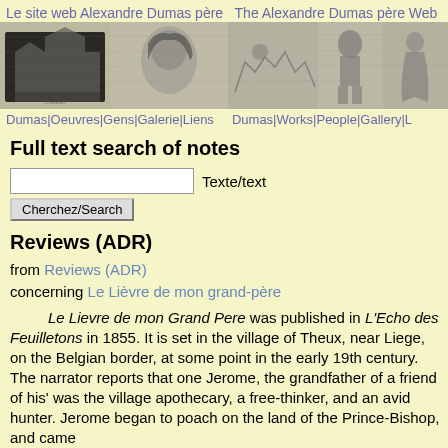Le site web Alexandre Dumas père  The Alexandre Dumas père Web
[Figure (illustration): Banner image with grayscale illustrations: a château building, a portrait of Alexandre Dumas père, soldiers/battle scene, a medieval knight in armor, and a period costume figure]
Dumas|Oeuvres|Gens|Galerie|Liens    Dumas|Works|People|Gallery|L
Full text search of notes
Texte/text
Cherchez/Search
Reviews (ADR)
from Reviews (ADR)
concerning Le Lièvre de mon grand-père
Le Lievre de mon Grand Pere was published in L'Echo des Feuilletons in 1855. It is set in the village of Theux, near Liege, on the Belgian border, at some point in the early 19th century. The narrator reports that one Jerome, the grandfather of a friend of his' was the village apothecary, a free-thinker, and an avid hunter. Jerome began to poach on the land of the Prince-Bishop, and came